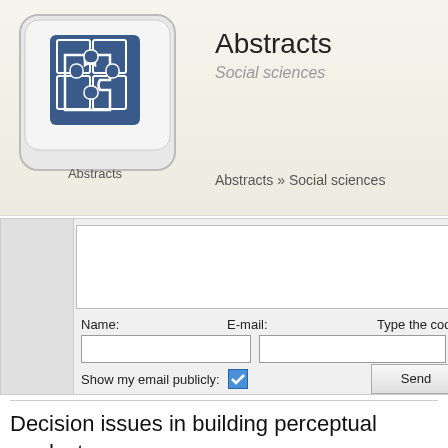[Figure (logo): Abstracts website logo — a keyboard key showing a puzzle piece icon, labeled 'Abstracts']
Abstracts
Social sciences
Abstracts » Social sciences
[Figure (screenshot): Web form with Name, E-mail, and Type the code fields, a Show my email publicly checkbox (checked), and a Send button]
Decision issues in building perceptual product spaces w… rating data